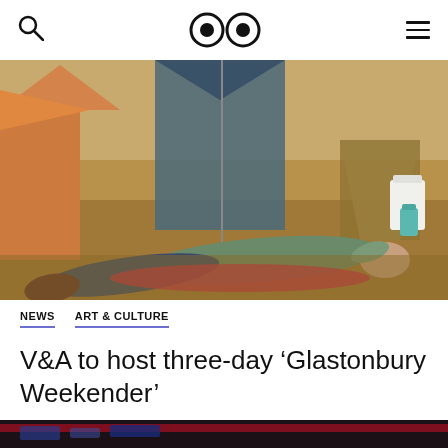🔍  👀  ☰
[Figure (photo): Person lying on dry grass at a festival campsite, surrounded by tents and deck chairs]
NEWS  ART & CULTURE
V&A to host three-day 'Glastonbury Weekender'
14 June 2021
[Figure (photo): Partial view of a dark red vehicle or structure at the bottom of the page]